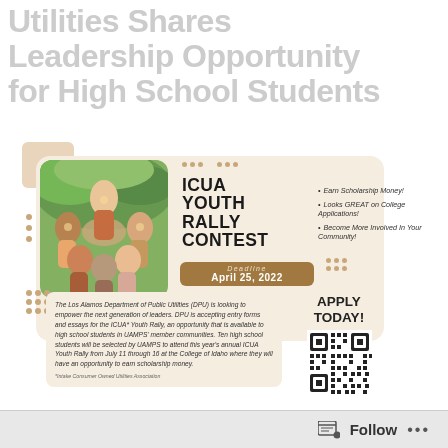Utilities Shares Leadership Opportunity for High School Students
[Figure (infographic): ICUA Youth Rally Contest flyer with a photo of diverse high school students forming a circle with hands raised, beige/tan decorative card layout. Includes deadline April 25 2022, bullet points about scholarship money and college applications, and a QR code saying Apply Today.]
The Los Alamos Department of Public Utilities (DPU) is looking to empower the next generation of leaders. DPU is accepting entry forms and essays for the ICUA* Youth Rally, an opportunity that is available to high school students in UAMPS' member communities. Ten high school students will be selected by UAMPS to attend this year's annual ICUA Youth Rally from July 11 through 16 at the College of Idaho where they will have an opportunity to earn scholarship money.
*Intake Consumer Owned Utilities Association
Follow ...